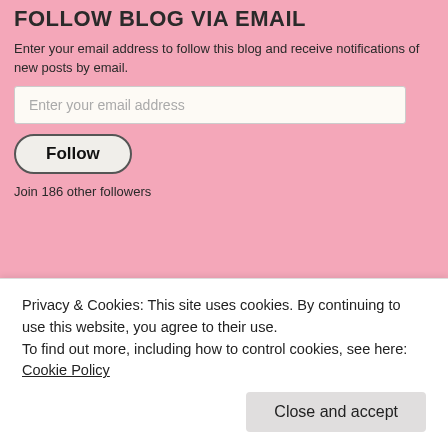FOLLOW BLOG VIA EMAIL
Enter your email address to follow this blog and receive notifications of new posts by email.
Enter your email address
Follow
Join 186 other followers
2014 Reading Challenge
AshleyiSee has read 9 books toward her goal of 75 books.
9 of 75 (12%)
view books
Privacy & Cookies: This site uses cookies. By continuing to use this website, you agree to their use.
To find out more, including how to control cookies, see here: Cookie Policy
Close and accept